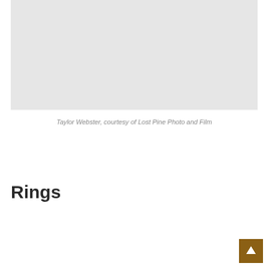[Figure (photo): A gray placeholder image representing a photo, likely a wedding or portrait photograph]
Taylor Webster, courtesy of Lost Pine Photo and Film
Rings